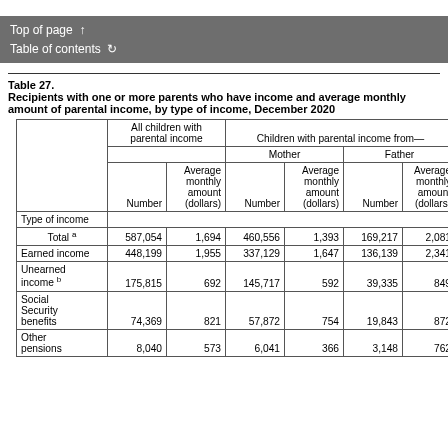Top of page ↑
Table of contents ↺
Table 27.
Recipients with one or more parents who have income and average monthly amount of parental income, by type of income, December 2020
| Type of income | Number (All children with parental income) | Average monthly amount (dollars) (All children with parental income) | Number (Mother) | Average monthly amount (dollars) (Mother) | Number (Father) | Average monthly amount (dollars) (Father) |
| --- | --- | --- | --- | --- | --- | --- |
| Total a | 587,054 | 1,694 | 460,556 | 1,393 | 169,217 | 2,081 |
| Earned income | 448,199 | 1,955 | 337,129 | 1,647 | 136,139 | 2,341 |
| Unearned income b | 175,815 | 692 | 145,717 | 592 | 39,335 | 849 |
| Social Security benefits | 74,369 | 821 | 57,872 | 754 | 19,843 | 872 |
| Other pensions | 8,040 | 573 | 6,041 | 366 | 3,148 | 762 |